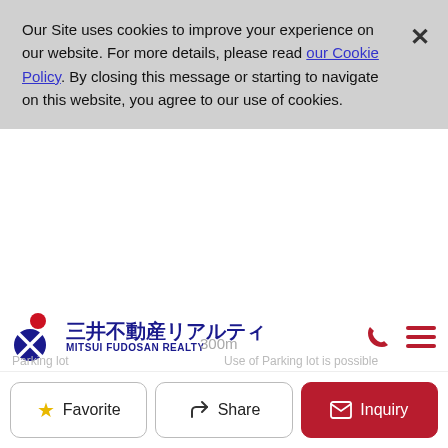Our Site uses cookies to improve your experience on our website. For more details, please read our Cookie Policy. By closing this message or starting to navigate on this website, you agree to our use of cookies.
[Figure (logo): Mitsui Fudosan Realty logo with Japanese text 三井不動産リアルティ and English text MITSUI FUDOSAN REALTY]
Achieve your real estate dreams with Mitsui Fudosan Realty
780m
Park
Ozasa South Park
300m
Parking lot
Use of Parking lot is possible